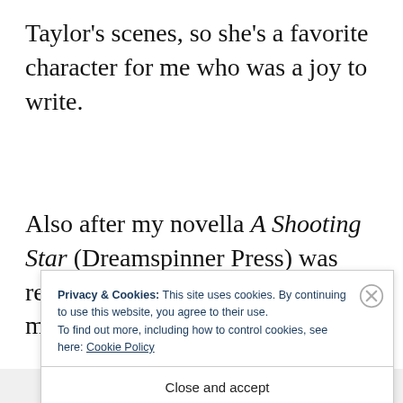Taylor's scenes, so she's a favorite character for me who was a joy to write.
Also after my novella A Shooting Star (Dreamspinner Press) was released, many readers wanted more time with two of the
Privacy & Cookies: This site uses cookies. By continuing to use this website, you agree to their use. To find out more, including how to control cookies, see here: Cookie Policy
Close and accept